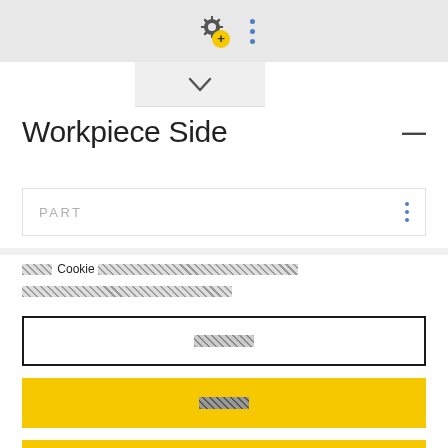[Figure (screenshot): Top navigation bar with a gear/settings icon with plus symbol and a three-dot vertical menu icon on grey background, with a dropdown chevron panel below]
Workpiece Side
PART (with three-dot menu icon)
Cookie notice text with placeholder characters
[Figure (screenshot): Outlined white button with placeholder text]
[Figure (screenshot): Yellow button with placeholder text]
[Figure (screenshot): Yellow button with Cookie label and placeholder text]